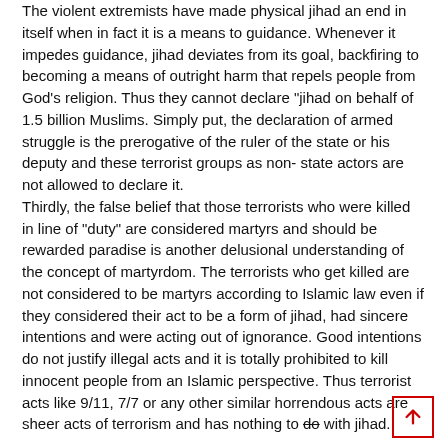The violent extremists have made physical jihad an end in itself when in fact it is a means to guidance. Whenever it impedes guidance, jihad deviates from its goal, backfiring to becoming a means of outright harm that repels people from God's religion. Thus they cannot declare "jihad on behalf of 1.5 billion Muslims. Simply put, the declaration of armed struggle is the prerogative of the ruler of the state or his deputy and these terrorist groups as non- state actors are not allowed to declare it. Thirdly, the false belief that those terrorists who were killed in line of "duty"⁠ are considered martyrs and should be rewarded paradise is another delusional understanding of the concept of martyrdom. The terrorists who get killed are not considered to be martyrs according to Islamic law even if they considered their act to be a form of jihad, had sincere intentions and were acting out of ignorance. Good intentions do not justify illegal acts and it is totally prohibited to kill innocent people from an Islamic perspective. Thus terrorist acts like 9/11, 7/7 or any other similar horrendous acts are sheer acts of terrorism and has nothing to do with jihad.